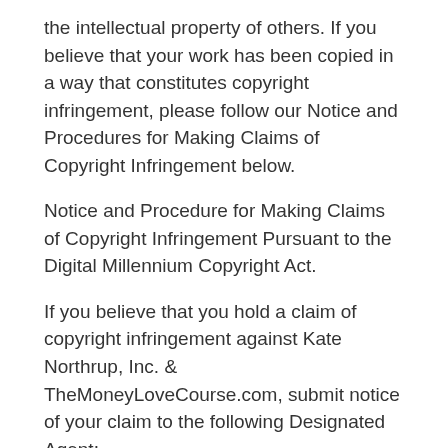the intellectual property of others. If you believe that your work has been copied in a way that constitutes copyright infringement, please follow our Notice and Procedures for Making Claims of Copyright Infringement below.
Notice and Procedure for Making Claims of Copyright Infringement Pursuant to the Digital Millennium Copyright Act.
If you believe that you hold a claim of copyright infringement against Kate Northrup, Inc. & TheMoneyLoveCourse.com, submit notice of your claim to the following Designated Agent:
Email Address to Which Notification Should Be Sent: info@katenorthrup.com. This e-mail address is being protected from spam bots, you need JavaScript enabled to view it.